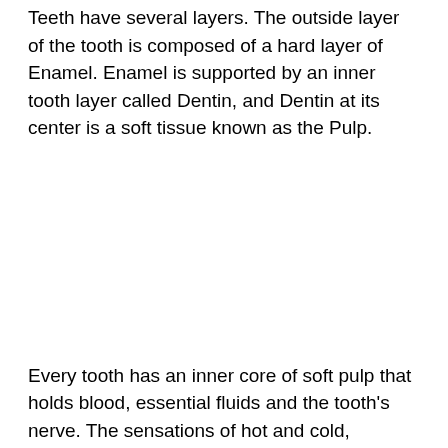Teeth have several layers. The outside layer of the tooth is composed of a hard layer of Enamel. Enamel is supported by an inner tooth layer called Dentin, and Dentin at its center is a soft tissue known as the Pulp.
Every tooth has an inner core of soft pulp that holds blood, essential fluids and the tooth's nerve. The sensations of hot and cold, pressure, and pain are all transmitted to your brain through the nerve inside the pulp.
Although the pulp is important during development of your tooth, it is not necessary for the tooth to remain functional and healthy. The tooth continues to be nourished by the tissues surrounding it even if the pulp is removed.